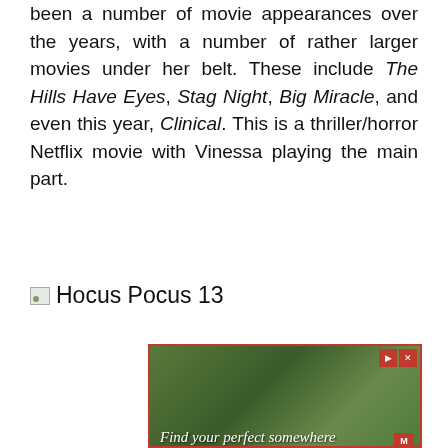been a number of movie appearances over the years, with a number of rather larger movies under her belt. These include The Hills Have Eyes, Stag Night, Big Miracle, and even this year, Clinical. This is a thriller/horror Netflix movie with Vinessa playing the main part.
[Figure (photo): Broken image placeholder thumbnail with label 'Hocus Pocus 13']
[Figure (other): Advertisement banner with dark red border and green forest background image. Text reads 'Find your perfect somewhere' with play and close controls in the top right.]